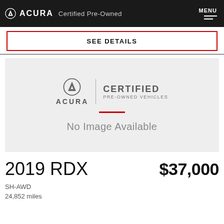ACURA Certified Pre-Owned | MENU
SEE DETAILS
[Figure (logo): Acura Certified Pre-Owned Vehicles logo with Acura symbol, 'ACURA' wordmark, vertical divider, 'CERTIFIED PRE-OWNED VEHICLES' text, red horizontal rule, and 'No Image Available' placeholder text on light gray background]
2019 RDX
$37,000
SH-AWD
24,852 miles